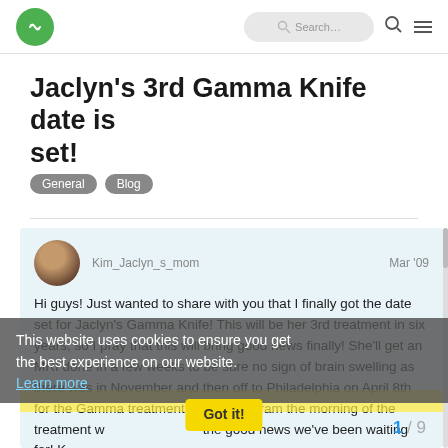Forum navigation header with logo, search pill, search icon, and menu icon
Jaclyn's 3rd Gamma Knife date is set!
General  Blog
Kim_Jaclyn_s_mom   Mar '09
Hi guys! Just wanted to share with you that I finally got the date set for Jaclyn's Gamma Knife! This will be her 3rd treatment in six years, so I pray that this will bring good news finally! She'll get an MRI done in a few weeks to be sure no sign of brain swelling as there was in November and then off to Philadelphia on April 8th for the Gamma treatment. The angiogram the morning of the treatment will follow the good news we've been waiting for! K thoughts and prayers as she gets ready
This website uses cookies to ensure you get the best experience on our website. Learn more  Got it!